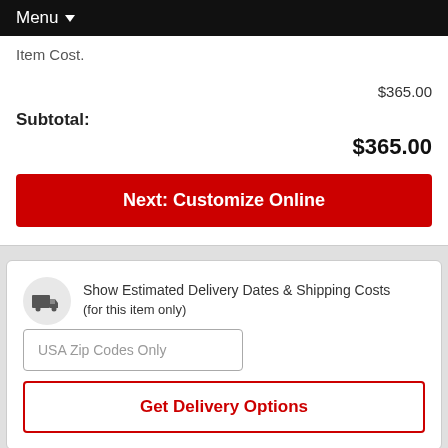Menu
Item Cost.
$365.00
Subtotal:
$365.00
Next: Customize Online
Show Estimated Delivery Dates & Shipping Costs (for this item only)
USA Zip Codes Only
Get Delivery Options